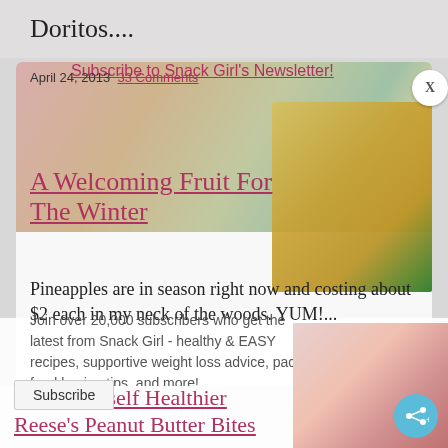Doritos....
April 24, 2013  33 Comments
A Welcoming Fruit For The Winter
Subscribe to Snack Girl's Newsletter!
Pineapples are in season right now and costing about $2 each in my neck of the woods. YUM!...
Join over 20,000 subscribers who get the latest from Snack Girl - healthy & EASY recipes, supportive weight loss advice, packaged food buying tips, and more!
February 13, 2013  24 Comments
enter your email address
Subscribe
Do It Yourself Healthier Reese's Peanut Butter Bites